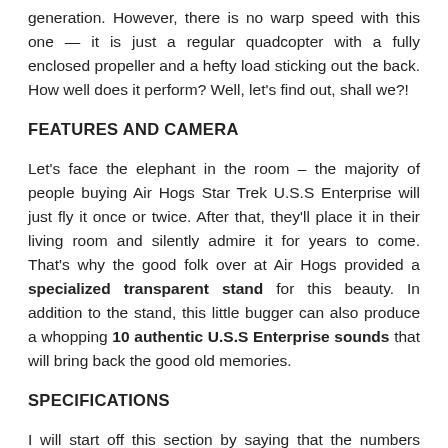generation. However, there is no warp speed with this one — it is just a regular quadcopter with a fully enclosed propeller and a hefty load sticking out the back. How well does it perform? Well, let's find out, shall we?!
FEATURES AND CAMERA
Let's face the elephant in the room – the majority of people buying Air Hogs Star Trek U.S.S Enterprise will just fly it once or twice. After that, they'll place it in their living room and silently admire it for years to come. That's why the good folk over at Air Hogs provided a specialized transparent stand for this beauty. In addition to the stand, this little bugger can also produce a whopping 10 authentic U.S.S Enterprise sounds that will bring back the good old memories.
SPECIFICATIONS
I will start off this section by saying that the numbers offer somewhat of a standard performance you'd come to expect